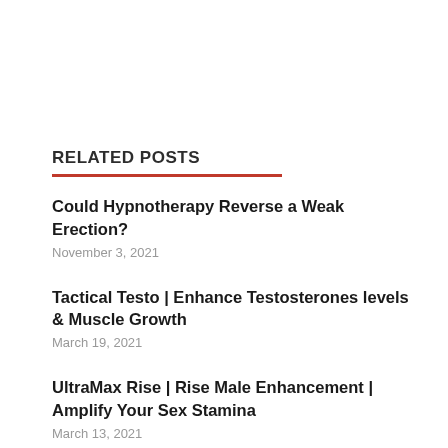RELATED POSTS
Could Hypnotherapy Reverse a Weak Erection?
November 3, 2021
Tactical Testo | Enhance Testosterones levels & Muscle Growth
March 19, 2021
UltraMax Rise | Rise Male Enhancement | Amplify Your Sex Stamina
March 13, 2021